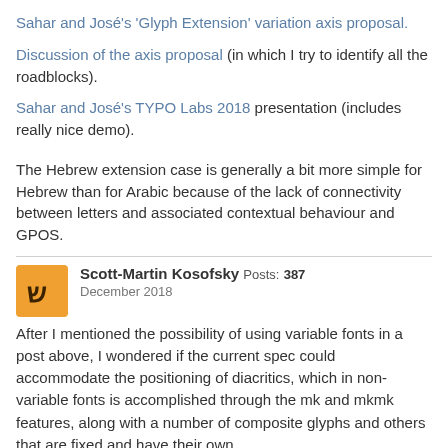Sahar and José's 'Glyph Extension' variation axis proposal.
Discussion of the axis proposal (in which I try to identify all the roadblocks).
Sahar and José's TYPO Labs 2018 presentation (includes really nice demo).
The Hebrew extension case is generally a bit more simple for Hebrew than for Arabic because of the lack of connectivity between letters and associated contextual behaviour and GPOS.
Scott-Martin Kosofsky Posts: 387
December 2018
After I mentioned the possibility of using variable fonts in a post above, I wondered if the current spec could accommodate the positioning of diacritics, which in non-variable fonts is accomplished through the mk and mkmk features, along with a number of composite glyphs and others that are fixed and have their own